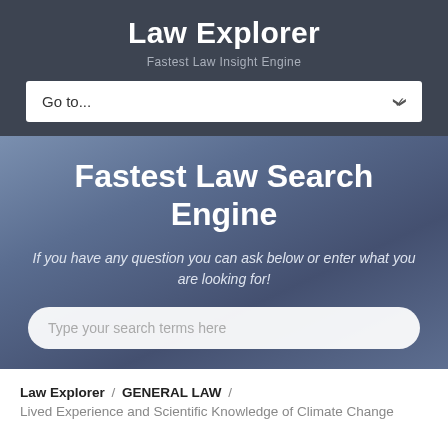Law Explorer
Fastest Law Insight Engine
Go to...
Fastest Law Search Engine
If you have any question you can ask below or enter what you are looking for!
Type your search terms here
Law Explorer / GENERAL LAW /
Lived Experience and Scientific Knowledge of Climate Change